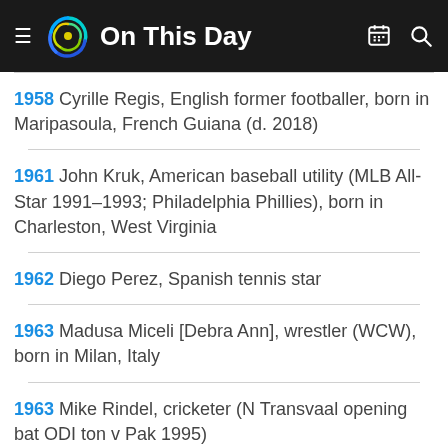On This Day
1958 Cyrille Regis, English former footballer, born in Maripasoula, French Guiana (d. 2018)
1961 John Kruk, American baseball utility (MLB All-Star 1991–1993; Philadelphia Phillies), born in Charleston, West Virginia
1962 Diego Perez, Spanish tennis star
1963 Madusa Miceli [Debra Ann], wrestler (WCW), born in Milan, Italy
1963 Mike Rindel, cricketer (N Transvaal opening bat ODI ton v Pak 1995)